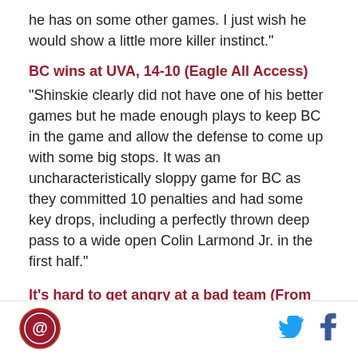he has on some other games. I just wish he would show a little more killer instinct."
BC wins at UVA, 14-10 (Eagle All Access)
"Shinskie clearly did not have one of his better games but he made enough plays to keep BC in the game and allow the defense to come up with some big stops. It was an uncharacteristically sloppy game for BC as they committed 10 penalties and had some key drops, including a perfectly thrown deep pass to a wide open Colin Larmond Jr. in the first half."
It's hard to get angry at a bad team (From Old Virginia)
"Anyway, this newfound numbness over losing is all